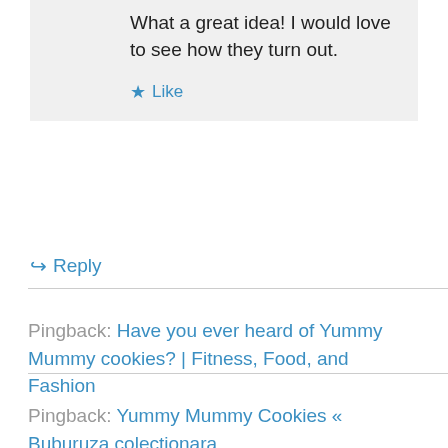What a great idea! I would love to see how they turn out.
Like
Reply
Pingback: Have you ever heard of Yummy Mummy cookies? | Fitness, Food, and Fashion
Pingback: Yummy Mummy Cookies « Buburuza colectionara
Pingback: Dagens bild, 29 oktober | Gealachs Blogg
Pingback: 25 Best Halloween Cookies - A Helicopter Mom